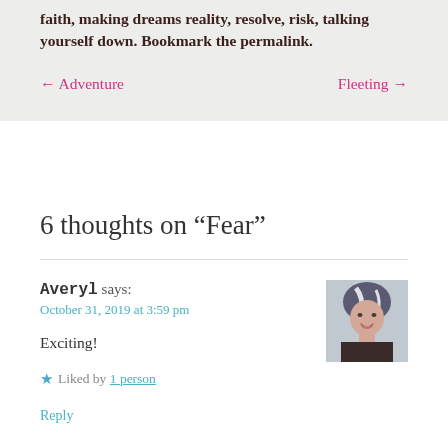faith, making dreams reality, resolve, risk, talking yourself down. Bookmark the permalink.
← Adventure    Fleeting →
6 thoughts on “Fear”
Averyl says:
October 31, 2019 at 3:59 pm
Exciting!
★ Liked by 1 person
Reply